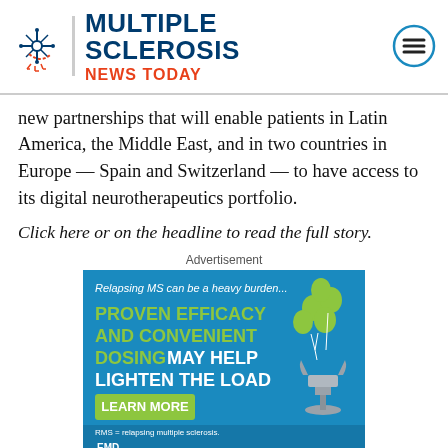[Figure (logo): Multiple Sclerosis News Today logo with snowflake/nerve icon, text MULTIPLE SCLEROSIS NEWS TODAY, and hamburger menu icon]
new partnerships that will enable patients in Latin America, the Middle East, and in two countries in Europe — Spain and Switzerland — to have access to its digital neurotherapeutics portfolio.
Click here or on the headline to read the full story.
Advertisement
[Figure (infographic): EMD Serono advertisement for relapsing MS drug. Blue background. Text: 'Relapsing MS can be a heavy burden...' 'PROVEN EFFICACY AND CONVENIENT DOSING MAY HELP LIGHTEN THE LOAD' with LEARN MORE button. Green balloons and metal anchor imagery. RMS = relapsing multiple sclerosis footnote. EMD Serono logo at bottom.]